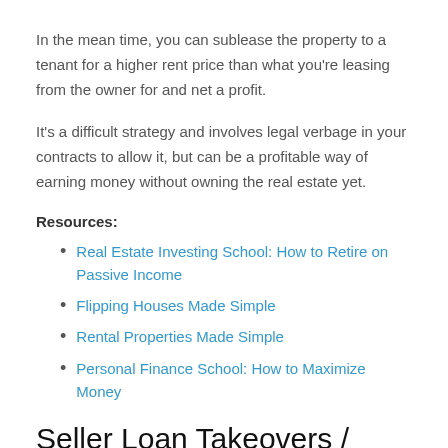In the mean time, you can sublease the property to a tenant for a higher rent price than what you're leasing from the owner for and net a profit.
It's a difficult strategy and involves legal verbage in your contracts to allow it, but can be a profitable way of earning money without owning the real estate yet.
Resources:
Real Estate Investing School: How to Retire on Passive Income
Flipping Houses Made Simple
Rental Properties Made Simple
Personal Finance School: How to Maximize Money
Seller Loan Takeovers / Assumption